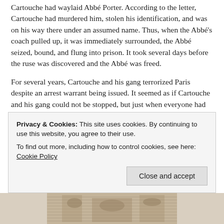Cartouche had waylaid Abbé Porter. According to the letter, Cartouche had murdered him, stolen his identification, and was on his way there under an assumed name. Thus, when the Abbé's coach pulled up, it was immediately surrounded, the Abbé seized, bound, and flung into prison. It took several days before the ruse was discovered and the Abbé was freed.
For several years, Cartouche and his gang terrorized Paris despite an arrest warrant being issued. It seemed as if Cartouche and his gang could not be stopped, but just when everyone had nearly given up hope, Cartouche was betrayed by a member of his own gang and captured. His capture brought universal joy, and newspapers far and wide (even in England), began to report on the notorious thief's capture. However, the joy of Cartouche's capture did not extend to everyone in his gang. Some gang members were seized with panic, fearing that any moment they
Privacy & Cookies: This site uses cookies. By continuing to use this website, you agree to their use.
To find out more, including how to control cookies, see here: Cookie Policy
Close and accept
[Figure (illustration): Partial view of an engraving or historical illustration at the bottom of the page, showing detailed linework typical of a period illustration.]